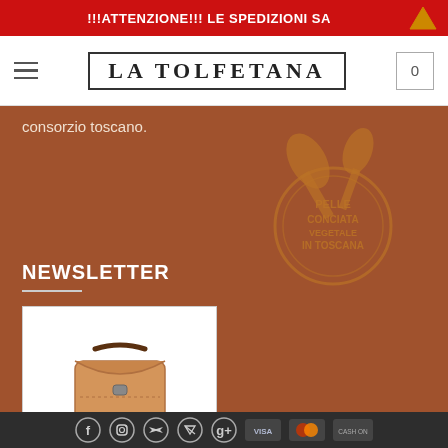!!!ATTENZIONE!!! LE SPEDIZIONI SA
[Figure (logo): La Tolfetana logo in bordered box with serif text]
consorzio toscano.
[Figure (illustration): Circular Pelle Conciata in Toscana stamp watermark in golden color]
NEWSLETTER
[Figure (photo): La Tolfetana newsletter image showing a leather bag and logo with text: Artigianato italiano con cartina bag blanca in Italy, www.latolfetana.com]
Social media icons (Facebook, Instagram, Twitter, Pinterest, Google+) and payment icons (Visa, Mastercard, Cash On)